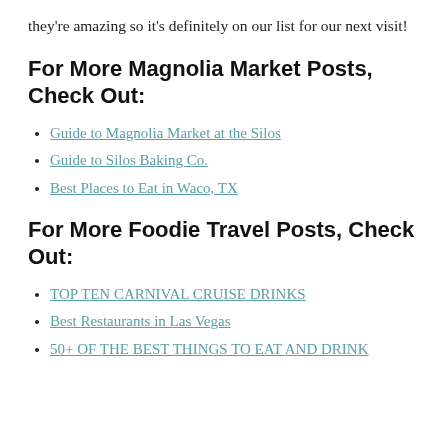they're amazing so it's definitely on our list for our next visit!
For More Magnolia Market Posts, Check Out:
Guide to Magnolia Market at the Silos
Guide to Silos Baking Co.
Best Places to Eat in Waco, TX
For More Foodie Travel Posts, Check Out:
TOP TEN CARNIVAL CRUISE DRINKS
Best Restaurants in Las Vegas
50+ OF THE BEST THINGS TO EAT AND DRINK